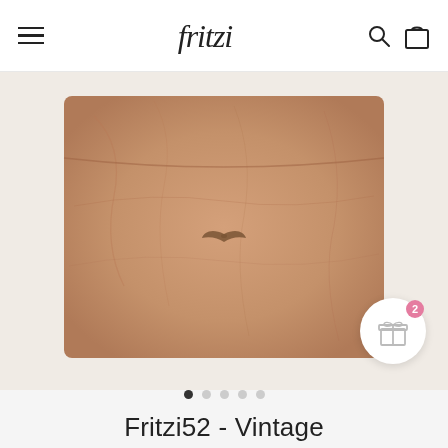fritzi — navigation header with hamburger menu, logo, search and cart icons
[Figure (photo): A tan/camel colored leather clutch bag (Fritzi52 Vintage) displayed against a light beige background. The bag is folded at the top and features a small wing/bird logo embossed in the center.]
Slide indicator dots — 5 dots, first one active (filled dark)
Fritzi52 - Vintage